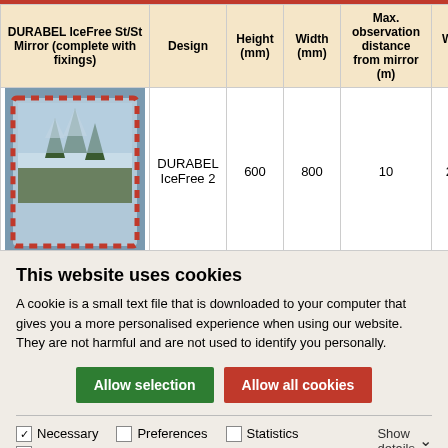| DURABEL IceFree St/St Mirror (complete with fixings) | Design | Height (mm) | Width (mm) | Max. observation distance from mirror (m) | Weight (kg) | Art |
| --- | --- | --- | --- | --- | --- | --- |
| [image] | DURABEL IceFree 2 | 600 | 800 | 10 | 25.00 | 242.1 |
| [image] | DURABEL IceFree 3 | 800 | 1000 | 15 | 36.00 | 242.1 |
This website uses cookies
A cookie is a small text file that is downloaded to your computer that gives you a more personalised experience when using our website. They are not harmful and are not used to identify you personally.
Allow selection | Allow all cookies
Necessary  Preferences  Statistics  Marketing  Show details